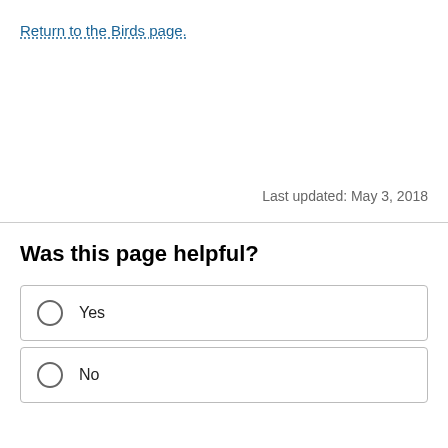Return to the Birds page.
Last updated: May 3, 2018
Was this page helpful?
Yes
No